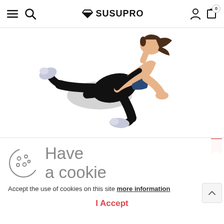SUSUPRO — navigation header with menu, search, logo, account, cart (0)
[Figure (illustration): Illustration of a woman in athletic wear (black leggings, dark blue sports bra) in a mountain climber / fire hydrant exercise pose, with a resistance band around her ankles, on a white background.]
[Figure (illustration): Cookie consent dialog: cookie icon on left, 'Have a cookie' heading, acceptance message with 'more information' link, and 'I Accept' button in red.]
Have a cookie
Accept the use of cookies on this site more information
I Accept